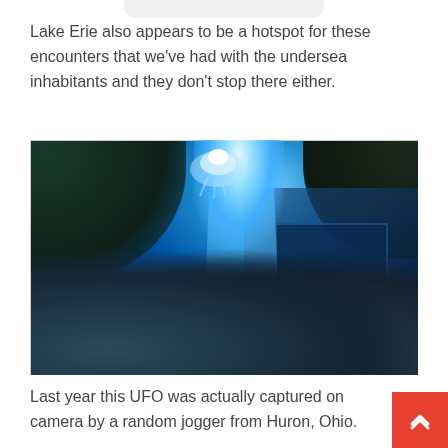Lake Erie also appears to be a hotspot for these encounters that we've had with the undersea inhabitants and they don't stop there either.
[Figure (photo): Underwater cave scene with a glowing blue UFO or jellyfish-like creature emitting bright light rays into a dark underwater cavern with rocky floor and stone walls.]
Last year this UFO was actually captured on camera by a random jogger from Huron, Ohio.